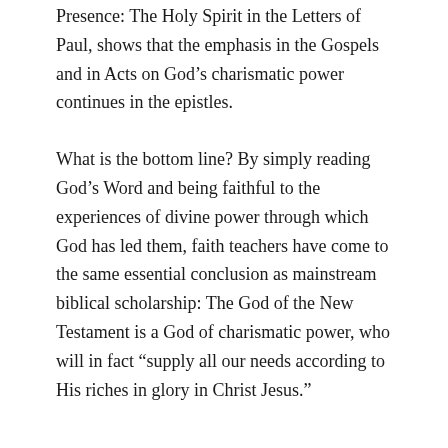Presence: The Holy Spirit in the Letters of Paul, shows that the emphasis in the Gospels and in Acts on God's charismatic power continues in the epistles.
What is the bottom line? By simply reading God's Word and being faithful to the experiences of divine power through which God has led them, faith teachers have come to the same essential conclusion as mainstream biblical scholarship: The God of the New Testament is a God of charismatic power, who will in fact “supply all our needs according to His riches in glory in Christ Jesus.”